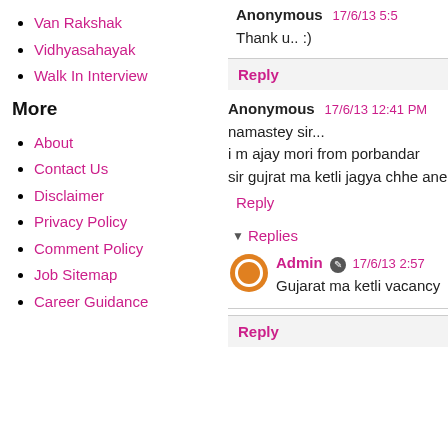Van Rakshak
Vidhyasahayak
Walk In Interview
More
About
Contact Us
Disclaimer
Privacy Policy
Comment Policy
Job Sitemap
Career Guidance
Anonymous 17/6/13 5:5
Thank u.. :)
Reply
Anonymous 17/6/13 12:41 PM
namastey sir...
i m ajay mori from porbandar
sir gujrat ma ketli jagya chhe ane
Reply
Replies
Admin 17/6/13 2:57
Gujarat ma ketli vacancy
Reply